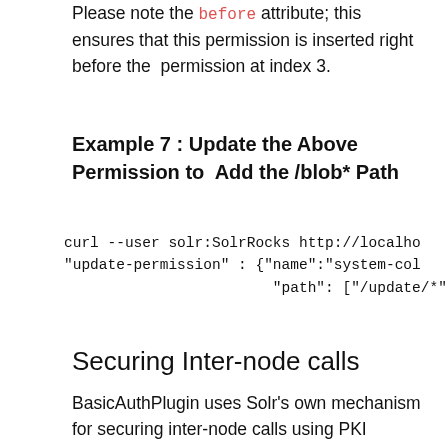Please note the `before` attribute; this ensures that this permission is inserted right before the permission at index 3.
Example 7 : Update the Above Permission to Add the /blob* Path
curl --user solr:SolrRocks http://localho
"update-permission" : {"name":"system-col
                        "path": ["/update/*",
Securing Inter-node calls
BasicAuthPlugin uses Solr's own mechanism for securing inter-node calls using PKI infrastructure.  (That is topic for another blog)